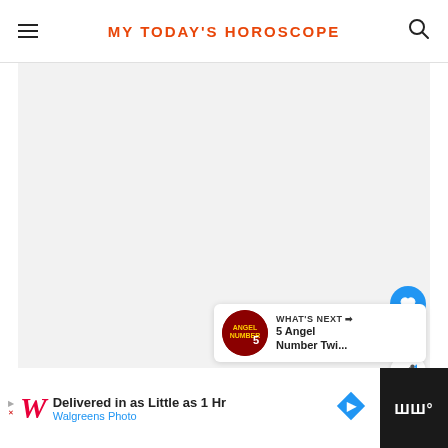MY TODAY'S HOROSCOPE
[Figure (screenshot): Light gray empty content area, main article region placeholder]
9
[Figure (other): WHAT'S NEXT arrow banner with thumbnail showing '5 Angel Number Twi...']
[Figure (other): Advertisement bar: Walgreens - Delivered in as Little as 1 Hr, Walgreens Photo]